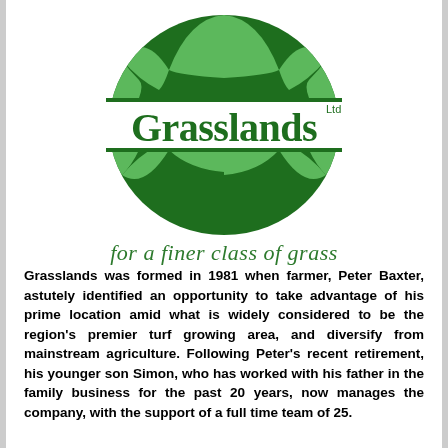[Figure (logo): Grasslands Ltd logo: green globe with vertical stripes, white horizontal band across the middle containing the word 'Grasslands' in dark green serif font with 'Ltd' superscript]
for a finer class of grass
Grasslands was formed in 1981 when farmer, Peter Baxter, astutely identified an opportunity to take advantage of his prime location amid what is widely considered to be the region's premier turf growing area, and diversify from mainstream agriculture. Following Peter's recent retirement, his younger son Simon, who has worked with his father in the family business for the past 20 years, now manages the company, with the support of a full time team of 25.